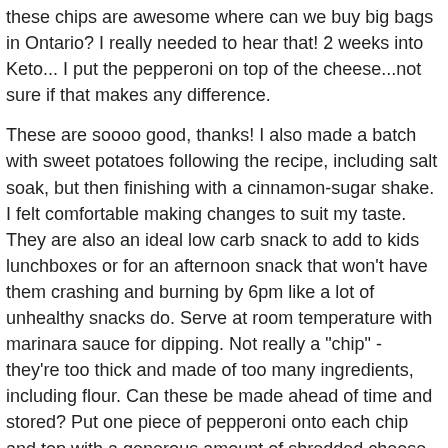these chips are awesome where can we buy big bags in Ontario? I really needed to hear that! 2 weeks into Keto... I put the pepperoni on top of the cheese...not sure if that makes any difference.
These are soooo good, thanks! I also made a batch with sweet potatoes following the recipe, including salt soak, but then finishing with a cinnamon-sugar shake. I felt comfortable making changes to suit my taste. They are also an ideal low carb snack to add to kids lunchboxes or for an afternoon snack that won't have them crashing and burning by 6pm like a lot of unhealthy snacks do. Serve at room temperature with marinara sauce for dipping. Not really a "chip" - they're too thick and made of too many ingredients, including flour. Can these be made ahead of time and stored? Put one piece of pepperoni onto each chip and top with a generous amount of shredded cheese.
Posted by 6 days ago.
Ramen Review 7: Nissin Cup Noodles with Shrimp, Coach D's Steamed